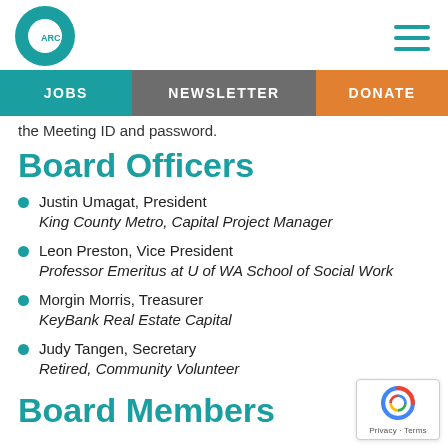CARC logo and navigation menu
JOBS | NEWSLETTER | DONATE
the Meeting ID and password.
Board Officers
Justin Umagat, President
King County Metro, Capital Project Manager
Leon Preston, Vice President
Professor Emeritus at U of WA School of Social Work
Morgin Morris, Treasurer
KeyBank Real Estate Capital
Judy Tangen, Secretary
Retired, Community Volunteer
Board Members